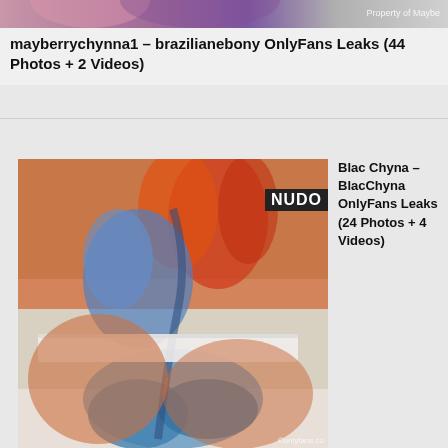[Figure (photo): Partial cropped image of a person at the top of the page with purple clothing and a watermark reading 'Property of Maybe']
mayberrychynna1 – brazilianebony OnlyFans Leaks (44 Photos + 2 Videos)
[Figure (photo): Photo of a person with extensive colorful tattoos covering their back and lower body, wearing white underwear. Overlaid text reads 'NUDO' and watermark reads '©onlyfans.co']
Blac Chyna – BlacChyna OnlyFans Leaks (24 Photos + 4 Videos)